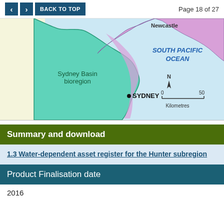< > BACK TO TOP   Page 18 of 27
[Figure (map): Map showing Sydney Basin bioregion in teal/green on the Australian coast, with Newcastle labeled at top, Sydney labeled with a dot, South Pacific Ocean labeled in blue italic text to the right, and a north arrow with scale bar showing 0-50 Kilometres.]
Summary and download
1.3 Water-dependent asset register for the Hunter subregion
Product Finalisation date
2016